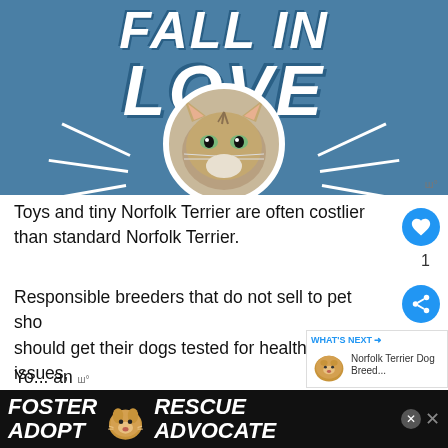[Figure (illustration): Blue banner advertisement with large white bold italic text 'FALL IN LOVE' and a tabby cat face in a circular white-bordered cutout at the bottom center, with white ray lines radiating outward on the blue background.]
Toys and tiny Norfolk Terrier are often costlier than standard Norfolk Terrier.
Responsible breeders that do not sell to pet shops should get their dogs tested for health issues, breed only healthy Norfolk Terrier puppies per year, and keep the number of litters they produce limited.
[Figure (infographic): Foster Adopt / Rescue Advocate banner advertisement in black with white bold italic text and a dog image in the center.]
Yo... an